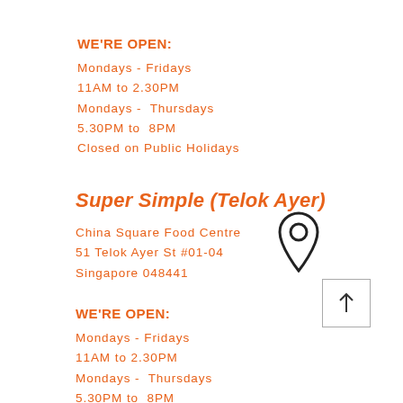WE'RE OPEN:
Mondays - Fridays
11AM to 2.30PM
Mondays -  Thursdays
5.30PM to  8PM
Closed on Public Holidays
Super Simple (Telok Ayer)
China Square Food Centre
51 Telok Ayer St #01-04
Singapore 048441
WE'RE OPEN:
Mondays - Fridays
11AM to 2.30PM
Mondays -  Thursdays
5.30PM to  8PM